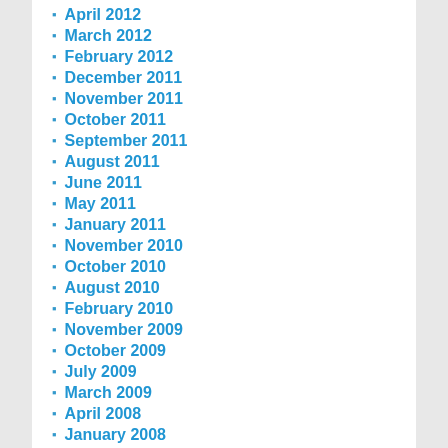April 2012
March 2012
February 2012
December 2011
November 2011
October 2011
September 2011
August 2011
June 2011
May 2011
January 2011
November 2010
October 2010
August 2010
February 2010
November 2009
October 2009
July 2009
March 2009
April 2008
January 2008
December 2007